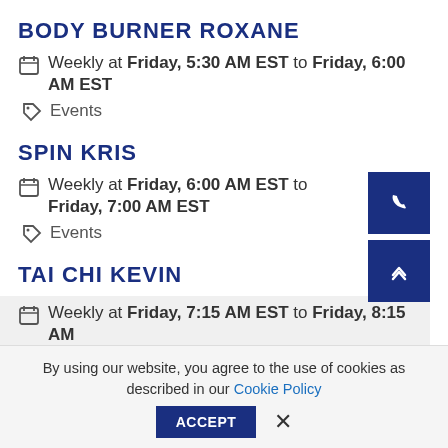BODY BURNER ROXANE
Weekly at Friday, 5:30 AM EST to Friday, 6:00 AM EST
Events
SPIN KRIS
Weekly at Friday, 6:00 AM EST to Friday, 7:00 AM EST
Events
TAI CHI KEVIN
Weekly at Friday, 7:15 AM EST to Friday, 8:15 AM
By using our website, you agree to the use of cookies as described in our Cookie Policy
ACCEPT